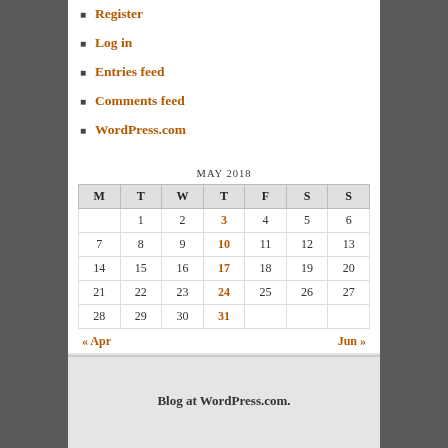Register
Log in
Entries feed
Comments feed
WordPress.com
| M | T | W | T | F | S | S |
| --- | --- | --- | --- | --- | --- | --- |
|  | 1 | 2 | 3 | 4 | 5 | 6 |
| 7 | 8 | 9 | 10 | 11 | 12 | 13 |
| 14 | 15 | 16 | 17 | 18 | 19 | 20 |
| 21 | 22 | 23 | 24 | 25 | 26 | 27 |
| 28 | 29 | 30 | 31 |  |  |  |
Blog at WordPress.com.